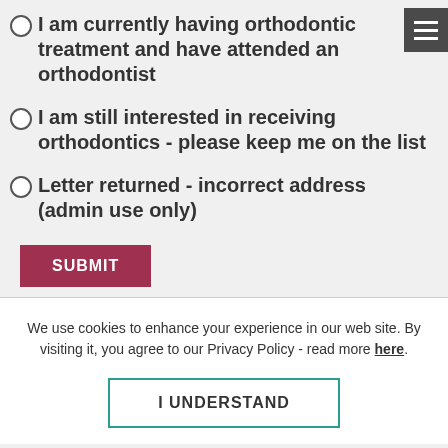I am currently having orthodontic treatment and have attended an orthodontist
I am still interested in receiving orthodontics - please keep me on the list
Letter returned - incorrect address (admin use only)
We use cookies to enhance your experience in our web site. By visiting it, you agree to our Privacy Policy - read more here.